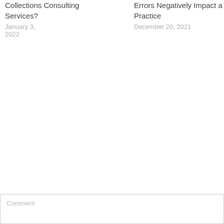Collections Consulting Services?
January 3, 2022
Errors Negatively Impact a Practice
December 20, 2021
LEAVE A REPLY
Your email address will not be published. Required fields are marked *
Comment